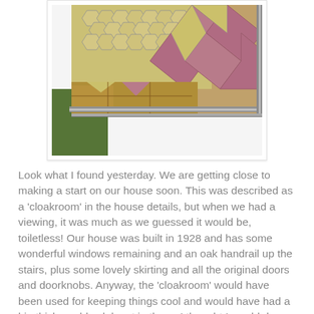[Figure (photo): Photo of old floor tiles in a cloakroom showing hexagonal cream/yellow tiles and pink/mauve diamond-pattern tiles, with a metal threshold strip and green carpet visible at the edge]
Look what I found yesterday. We are getting close to making a start on our house soon. This was described as a 'cloakroom' in the house details, but when we had a viewing, it was much as we guessed it would be, toiletless! Our house was built in 1928 and has some wonderful windows remaining and an oak handrail up the stairs, plus some lovely skirting and all the original doors and doorknobs. Anyway, the 'cloakroom' would have been used for keeping things cool and would have had a big thick marble slab sat in there. I thought I would do some investigating as we are going to have a toilet put in there at the beginning of February. After some heaving up of the carpet AND vinyl, I found the original quarry tiles. I'm going to order something called Pro Clean to give them a lovely deep clean. I was planning on having a nice grey slate floor in there and follow